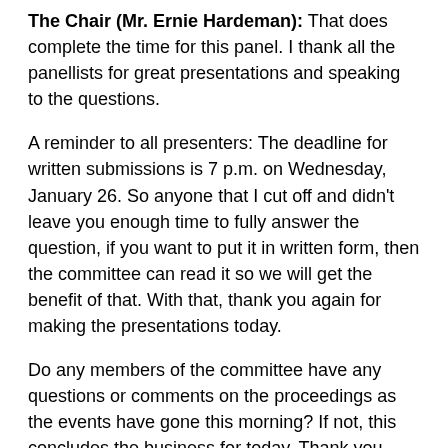The Chair (Mr. Ernie Hardeman): That does complete the time for this panel. I thank all the panellists for great presentations and speaking to the questions.
A reminder to all presenters: The deadline for written submissions is 7 p.m. on Wednesday, January 26. So anyone that I cut off and didn't leave you enough time to fully answer the question, if you want to put it in written form, then the committee can read it so we will get the benefit of that. With that, thank you again for making the presentations today.
Do any members of the committee have any questions or comments on the proceedings as the events have gone this morning? If not, this concludes the business for today. Thank you again to all the presenters who presented today. As a reminder, the deadline for written submissions is 7 p.m. on Wednesday, January 26, 2022.
The committee is now adjourned until 9 a.m. on Tuesday, January 11, 2022, when we will continue the pre-budget